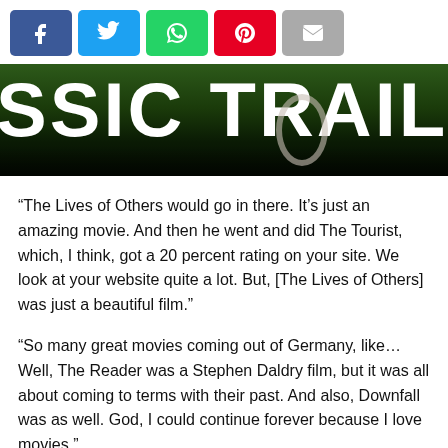[Figure (screenshot): Social sharing buttons: Facebook (blue), Twitter (cyan), WhatsApp (green), Pinterest (red), Email (grey)]
[Figure (photo): Dark green and black banner image with large white bold text reading 'SSIC TRAILE' (Classic Trailer partially visible)]
“The Lives of Others would go in there. It’s just an amazing movie. And then he went and did The Tourist, which, I think, got a 20 percent rating on your site. We look at your website quite a lot. But, [The Lives of Others] was just a beautiful film.”
“So many great movies coming out of Germany, like… Well, The Reader was a Stephen Daldry film, but it was all about coming to terms with their past. And also, Downfall was as well. God, I could continue forever because I love movies.”